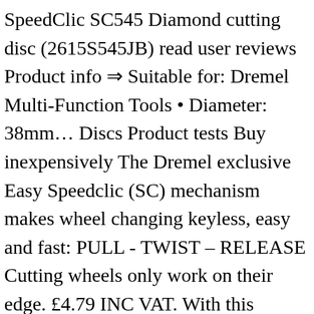SpeedClic SC545 Diamond cutting disc (2615S545JB) read user reviews Product info ⇒ Suitable for: Dremel Multi-Function Tools • Diameter: 38mm… Discs Product tests Buy inexpensively The Dremel exclusive Easy Speedclic (SC) mechanism makes wheel changing keyless, easy and fast: PULL - TWIST – RELEASE Cutting wheels only work on their edge. £4.79 INC VAT. With this accessory set you can tackle a wide range of applications like cutting, sanding, grinding, polishing in a variety of